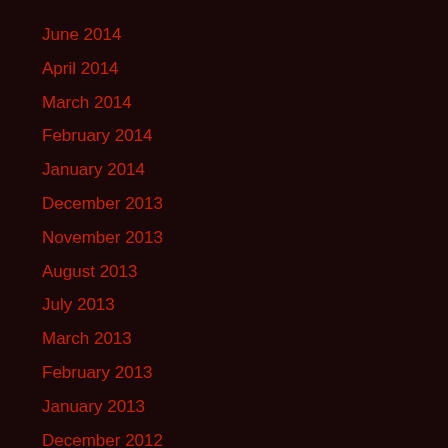June 2014
April 2014
March 2014
February 2014
January 2014
December 2013
November 2013
August 2013
July 2013
March 2013
February 2013
January 2013
December 2012
November 2012